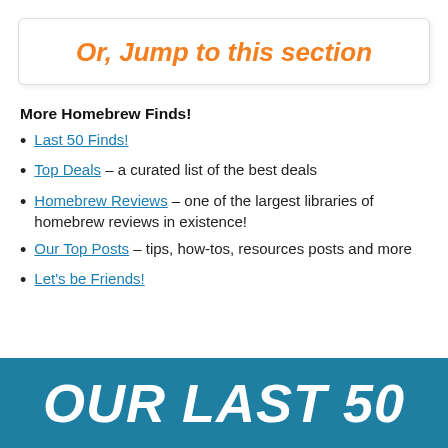Or, Jump to this section
More Homebrew Finds!
Last 50 Finds!
Top Deals – a curated list of the best deals
Homebrew Reviews – one of the largest libraries of homebrew reviews in existence!
Our Top Posts – tips, how-tos, resources posts and more
Let's be Friends!
OUR LAST 50